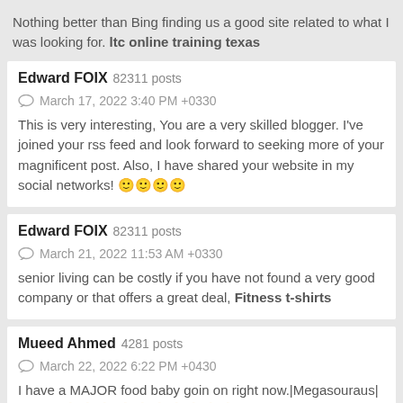Nothing better than Bing finding us a good site related to what I was looking for. ltc online training texas
Edward FOIX 82311 posts
March 17, 2022 3:40 PM +0330
This is very interesting, You are a very skilled blogger. I've joined your rss feed and look forward to seeking more of your magnificent post. Also, I have shared your website in my social networks! 🙂🙂🙂🙂
Edward FOIX 82311 posts
March 21, 2022 11:53 AM +0330
senior living can be costly if you have not found a very good company or that offers a great deal, Fitness t-shirts
Mueed Ahmed 4281 posts
March 22, 2022 6:22 PM +0430
I have a MAJOR food baby goin on right now.|Megasouraus| ufabet 🙂🙂🙂 🙂🙂🙂🙂🙂🙂🙂
Edward FOIX 82311 posts